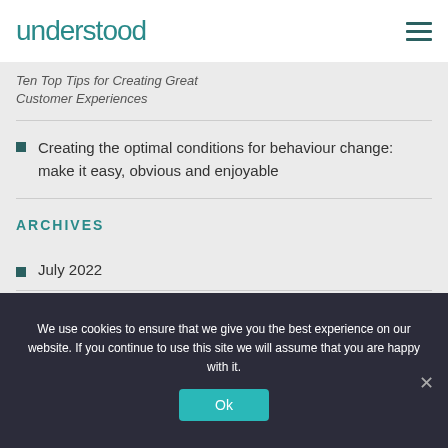understood
Ten Top Tips for Creating Great Customer Experiences
Creating the optimal conditions for behaviour change: make it easy, obvious and enjoyable
ARCHIVES
July 2022
June 2022
We use cookies to ensure that we give you the best experience on our website. If you continue to use this site we will assume that you are happy with it.